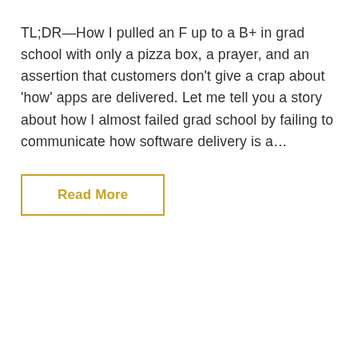TL;DR—How I pulled an F up to a B+ in grad school with only a pizza box, a prayer, and an assertion that customers don't give a crap about 'how' apps are delivered. Let me tell you a story about how I almost failed grad school by failing to communicate how software delivery is a...
Read More